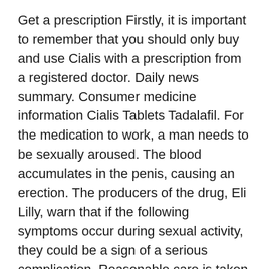Get a prescription Firstly, it is important to remember that you should only buy and use Cialis with a prescription from a registered doctor. Daily news summary. Consumer medicine information Cialis Tablets Tadalafil. For the medication to work, a man needs to be sexually aroused. The blood accumulates in the penis, causing an erection. The producers of the drug, Eli Lilly, warn that if the following symptoms occur during sexual activity, they could be a sign of a serious complication. Reasonable care is taken to provide accurate information at the time of creation. Midostaurin for acute myeloid leukaemia, mastocytosis, mast cell leukaemia 28 February Your Doctor can advise on the appropriateness of once-a-day treatment. Buy generic Viagra sildenafil. It is important always to obtain medications from a reputable source, because using fake drugs can be dangerous. Side effects All medicines have the potential to cause side effects, although not all users go on to experience them. It should